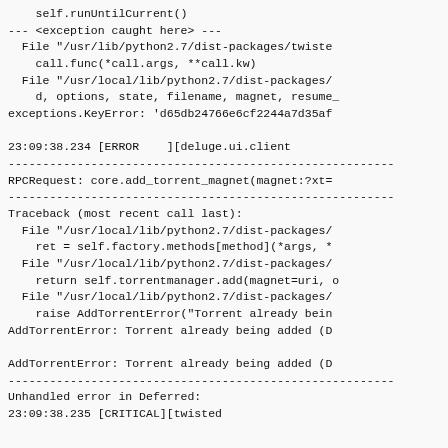self.runUntilCurrent()
--- <exception caught here> ---
  File "/usr/lib/python2.7/dist-packages/twiste
    call.func(*call.args, **call.kw)
  File "/usr/local/lib/python2.7/dist-packages/
    d, options, state, filename, magnet, resume_
exceptions.KeyError: 'd65db24766e6cf2244a7d35af

23:09:38.234 [ERROR    ][deluge.ui.client
--------------------------------------------------------
RPCRequest: core.add_torrent_magnet(magnet:?xt=
--------------------------------------------------------
Traceback (most recent call last):
  File "/usr/local/lib/python2.7/dist-packages/
    ret = self.factory.methods[method](*args, *
  File "/usr/local/lib/python2.7/dist-packages/
    return self.torrentmanager.add(magnet=uri, o
  File "/usr/local/lib/python2.7/dist-packages/
    raise AddTorrentError("Torrent already bein
AddTorrentError: Torrent already being added (D

AddTorrentError: Torrent already being added (D
--------------------------------------------------------
Unhandled error in Deferred:
23:09:38.235 [CRITICAL][twisted


Traceback (most recent call last):
Failure: deluge.error.AddTorrentError: Torrent 
23:09:38.235 [CRITICAL][twisted
/usr/local/lib/python2.7/dist-packages/deluge.2